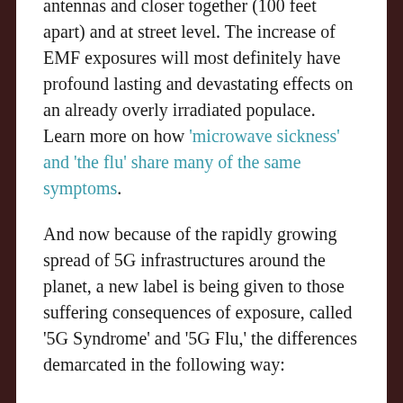antennas and closer together (100 feet apart) and at street level. The increase of EMF exposures will most definitely have profound lasting and devastating effects on an already overly irradiated populace. Learn more on how 'microwave sickness' and 'the flu' share many of the same symptoms.
And now because of the rapidly growing spread of 5G infrastructures around the planet, a new label is being given to those suffering consequences of exposure, called '5G Syndrome' and '5G Flu,' the differences demarcated in the following way:
“In general, 5G Flu is more of an acute illness whereas 5G Syndrome is a long-term, chronic